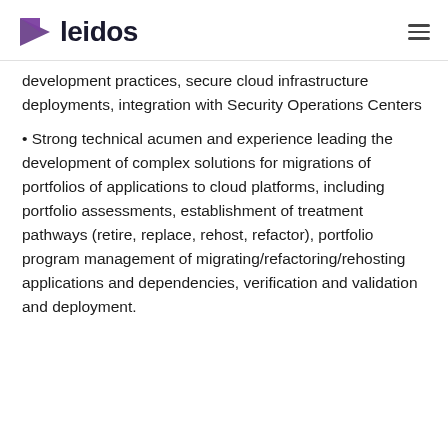leidos
development practices, secure cloud infrastructure deployments, integration with Security Operations Centers
Strong technical acumen and experience leading the development of complex solutions for migrations of portfolios of applications to cloud platforms, including portfolio assessments, establishment of treatment pathways (retire, replace, rehost, refactor), portfolio program management of migrating/refactoring/rehosting applications and dependencies, verification and validation and deployment.